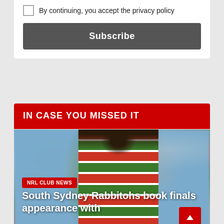By continuing, you accept the privacy policy
Subscribe
IN CASE YOU MISSED IT
[Figure (photo): South Sydney Rabbitohs player in red and green jersey celebrating, crowd in background]
NRL CLUB NEWS
South Sydney Rabbitohs book finals appearance with
AUG 29, 2022   RCURRAN